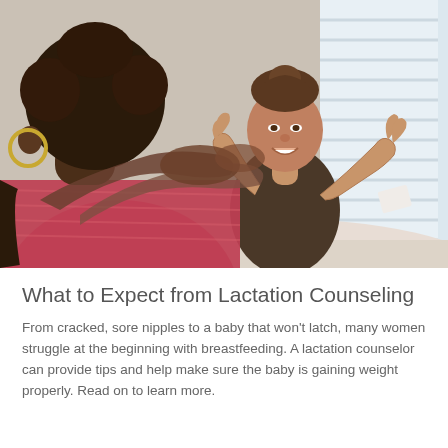[Figure (photo): Two women sitting across from each other at a table in a consultation setting. One woman with dark curly hair (in foreground, back to camera) wearing a pink/red patterned top. The other woman with brown hair up in a bun, smiling, wearing a dark sleeveless top, gesturing with both hands raised. Bright window with blinds in background.]
What to Expect from Lactation Counseling
From cracked, sore nipples to a baby that won't latch, many women struggle at the beginning with breastfeeding. A lactation counselor can provide tips and help make sure the baby is gaining weight properly. Read on to learn more.